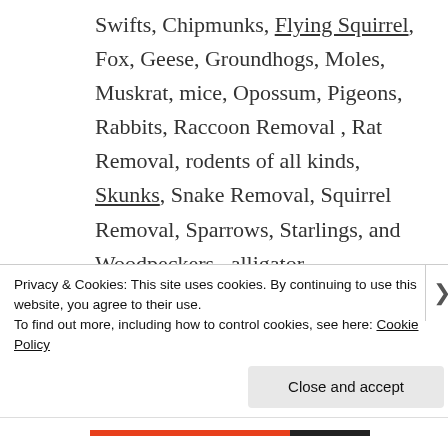Swifts, Chipmunks, Flying Squirrel, Fox, Geese, Groundhogs, Moles, Muskrat, mice, Opossum, Pigeons, Rabbits, Raccoon Removal , Rat Removal, rodents of all kinds, Skunks, Snake Removal, Squirrel Removal, Sparrows, Starlings, and Woodpeckers , alligator.
Amarillo Texas has said that
Privacy & Cookies: This site uses cookies. By continuing to use this website, you agree to their use.
To find out more, including how to control cookies, see here: Cookie Policy